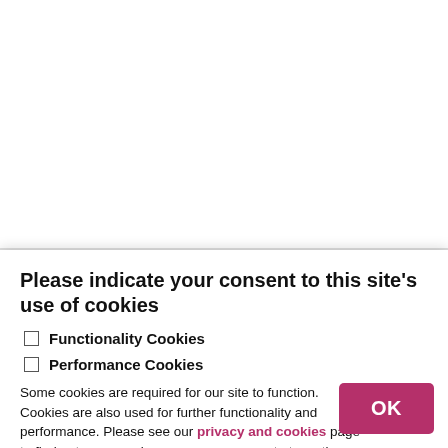Faith communities and climate change, with a short opening reflection from Mohinder Singh Chana, Network of Sikh Organisations, on the theme of care for the planet in the Sikh tradition and a presentation from Paul Parker, Recording Clerk, Quakers in Britain:
Please indicate your consent to this site's use of cookies
Functionality Cookies
Performance Cookies
Some cookies are required for our site to function. Cookies are also used for further functionality and performance. Please see our privacy and cookies page to find out more, and manage your consent at any time.